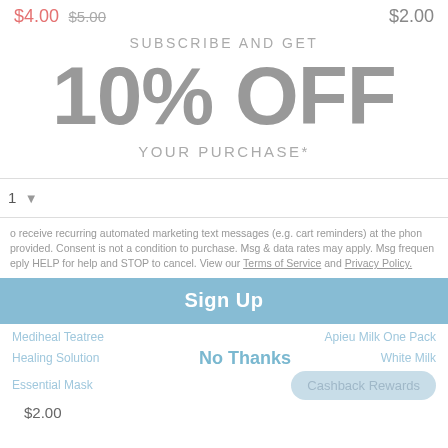$4.00 $5.00   $2.00
SUBSCRIBE AND GET
10% OFF
YOUR PURCHASE*
1
to receive recurring automated marketing text messages (e.g. cart reminders) at the phone provided. Consent is not a condition to purchase. Msg & data rates may apply. Msg frequency reply HELP for help and STOP to cancel. View our Terms of Service and Privacy Policy.
Sign Up
Mediheal Teatree   Apieu Milk One Pack
No Thanks
Healing Solution   White Milk
Essential Mask
Cashback Rewards
$2.00